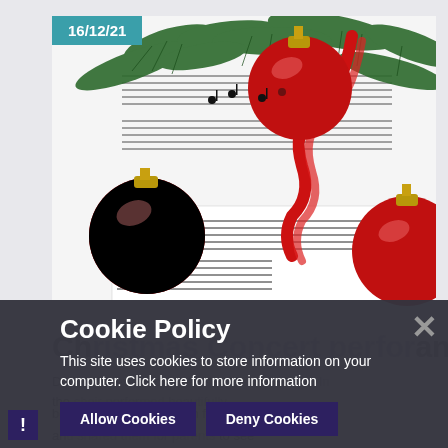[Figure (photo): Christmas ornaments — red baubles, pine branches, red ribbon, and sheet music on white background, with a teal date badge reading 16/12/21 in the top-left corner]
Ch...ance
D... ...in the...
beautifully Mrs Darlington filmed the songs
an... ...to see
Cookie Policy
This site uses cookies to store information on your computer. Click here for more information
Allow Cookies
Deny Cookies